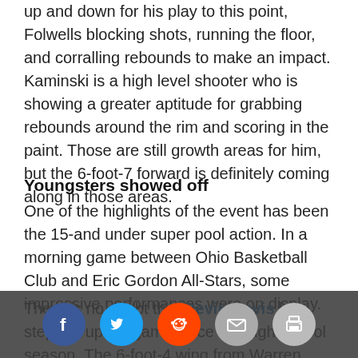up and down for his play to this point, Folwells blocking shots, running the floor, and corralling rebounds to make an impact. Kaminski is a high level shooter who is showing a greater aptitude for grabbing rebounds around the rim and scoring in the paint. Those are still growth areas for him, but the 6-foot-7 forward is definitely coming along in those areas.
Youngsters showed off
One of the highlights of the event has been the 15-and under super pool action. In a morning game between Ohio Basketball Club and Eric Gordon All-Stars, some impressive performances were on display.
There is no doubt that Devin Davis has stepped up his game since the high school season. The 6-foot-4 wing from Warren Central High School has been a new player for Eric Gordon, and it is showing in his production .
Davis is a high level athlete who plays with a big time motor. He attacked the rim and scored, defended at a